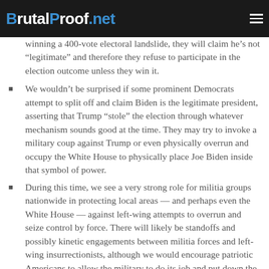BrutalProof.net
winning a 400-vote electoral landslide, they will claim he’s not “legitimate” and therefore they refuse to participate in the election outcome unless they win it.
We wouldn’t be surprised if some prominent Democrats attempt to split off and claim Biden is the legitimate president, asserting that Trump “stole” the election through whatever mechanism sounds good at the time. They may try to invoke a military coup against Trump or even physically overrun and occupy the White House to physically place Joe Biden inside that symbol of power.
During this time, we see a very strong role for militia groups nationwide in protecting local areas — and perhaps even the White House — against left-wing attempts to overrun and seize control by force. There will likely be standoffs and possibly kinetic engagements between militia forces and left-wing insurrectionists, although we would encourage patriotic Americans to allow the military to do its job and put down the